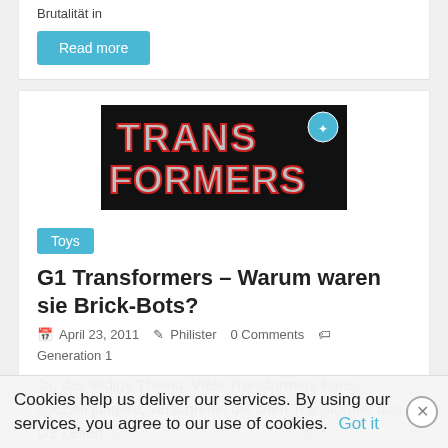Brutalität in
Read more
[Figure (logo): Transformers Generation 1 logo on black background with red and silver lettering]
Toys
G1 Transformers – Warum waren sie Brick-Bots?
April 23, 2011   Philister   0 Comments   Generation 1
Ja, das leidige Thema. Viele Transformers Fans, speziell jüngere, verschreien die alten Transformer aus G1 Zeiten gerne als Brick-Bots. Unbewegliche.
Cookies help us deliver our services. By using our services, you agree to our use of cookies.   Got it